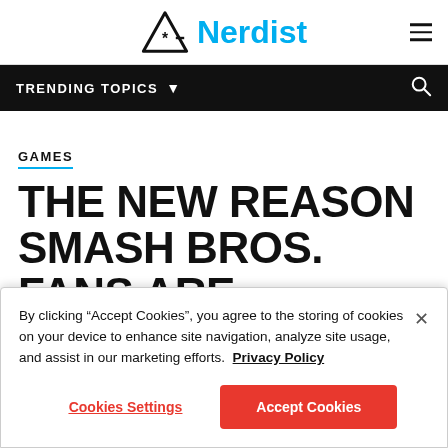Nerdist
TRENDING TOPICS
GAMES
THE NEW REASON SMASH BROS. FANS ARE
By clicking "Accept Cookies", you agree to the storing of cookies on your device to enhance site navigation, analyze site usage, and assist in our marketing efforts. Privacy Policy
Cookies Settings  Accept Cookies